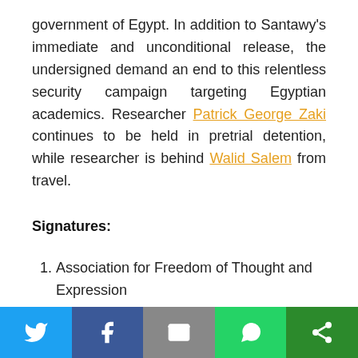government of Egypt. In addition to Santawy's immediate and unconditional release, the undersigned demand an end to this relentless security campaign targeting Egyptian academics. Researcher Patrick George Zaki continues to be held in pretrial detention, while researcher is behind Walid Salem from travel.
Signatures:
1. Association for Freedom of Thought and Expression